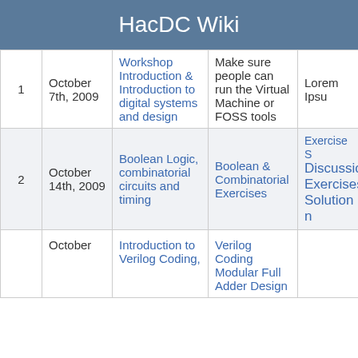HacdDC Wiki
| # | Date | Topic | Homework | Notes |
| --- | --- | --- | --- | --- |
| 1 | October 7th, 2009 | Workshop Introduction & Introduction to digital systems and design | Make sure people can run the Virtual Machine or FOSS tools | Lorem Ipsu... |
| 2 | October 14th, 2009 | Boolean Logic, combinatorial circuits and timing | Boolean & Combinatorial Exercises | Exercise S... Discussion... Exercises... Solution n... |
| 3 | October 21st... | Introduction to Verilog Coding, | Verilog Coding Modular Full Adder Design ... | Solution... |